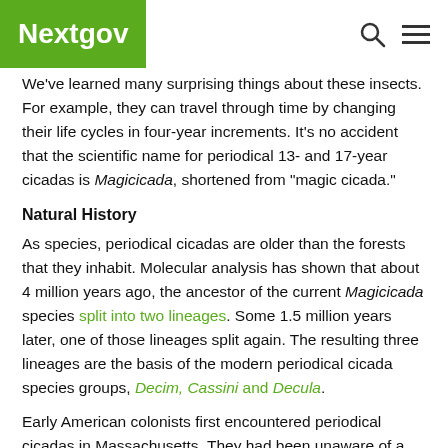Nextgov
We've learned many surprising things about these insects. For example, they can travel through time by changing their life cycles in four-year increments. It's no accident that the scientific name for periodical 13- and 17-year cicadas is Magicicada, shortened from "magic cicada."
Natural History
As species, periodical cicadas are older than the forests that they inhabit. Molecular analysis has shown that about 4 million years ago, the ancestor of the current Magicicada species split into two lineages. Some 1.5 million years later, one of those lineages split again. The resulting three lineages are the basis of the modern periodical cicada species groups, Decim, Cassini and Decula.
Early American colonists first encountered periodical cicadas in Massachusetts. They had been unaware of a recognizable...